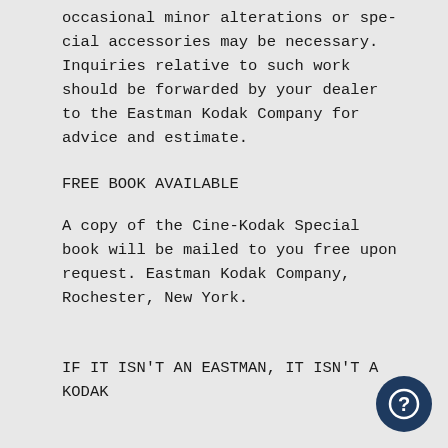occasional minor alterations or special accessories may be necessary. Inquiries relative to such work should be forwarded by your dealer to the Eastman Kodak Company for advice and estimate.
FREE BOOK AVAILABLE
A copy of the Cine-Kodak Special book will be mailed to you free upon request. Eastman Kodak Company, Rochester, New York.
IF IT ISN'T AN EASTMAN, IT ISN'T A KODAK
REFLEX FINDER
The reflex finder shows on a ground-glass screen the field of the taking lens — permits visual focusing with all lenses.